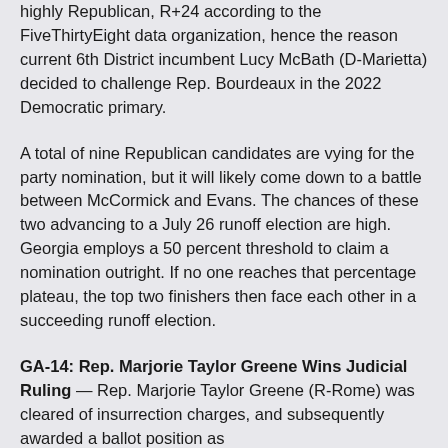highly Republican, R+24 according to the FiveThirtyEight data organization, hence the reason current 6th District incumbent Lucy McBath (D-Marietta) decided to challenge Rep. Bourdeaux in the 2022 Democratic primary.
A total of nine Republican candidates are vying for the party nomination, but it will likely come down to a battle between McCormick and Evans. The chances of these two advancing to a July 26 runoff election are high. Georgia employs a 50 percent threshold to claim a nomination outright. If no one reaches that percentage plateau, the top two finishers then face each other in a succeeding runoff election.
GA-14: Rep. Marjorie Taylor Greene Wins Judicial Ruling — Rep. Marjorie Taylor Greene (R-Rome) was cleared of insurrection charges, and subsequently awarded a ballot position as